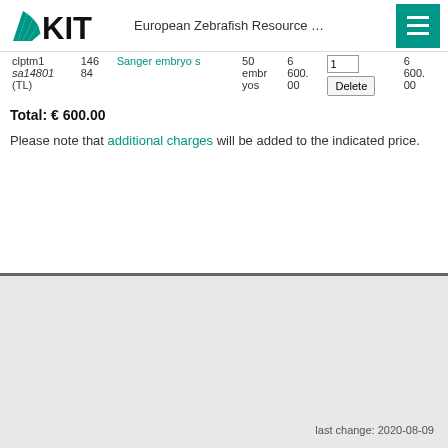European Zebrafish Resource …
| clptm1 sa14801 (TL) | 146 84 | Sanger embryos | 50 embryos | 600.00 | 1 | 600.00 |
Total: € 600.00
Please note that additional charges will be added to the indicated price.
last change: 2020-08-09